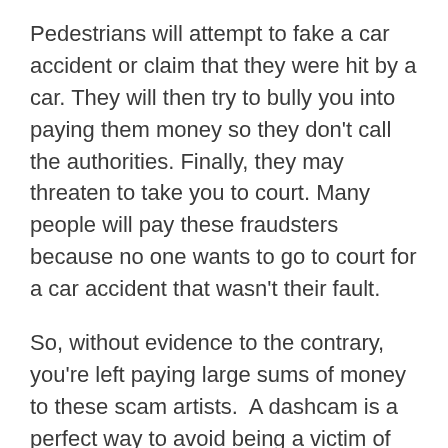Pedestrians will attempt to fake a car accident or claim that they were hit by a car. They will then try to bully you into paying them money so they don't call the authorities. Finally, they may threaten to take you to court. Many people will pay these fraudsters because no one wants to go to court for a car accident that wasn't their fault.
So, without evidence to the contrary, you're left paying large sums of money to these scam artists.  A dashcam is a perfect way to avoid being a victim of this kind of fraud.
And Much More!